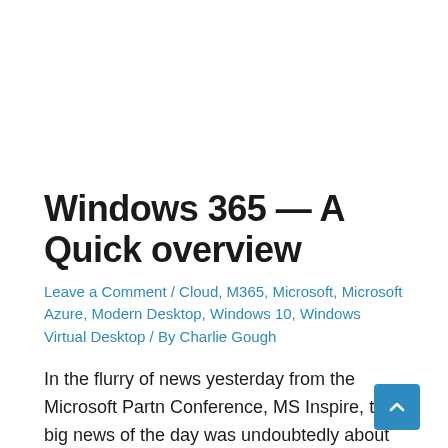Windows 365 — A Quick overview
Leave a Comment / Cloud, M365, Microsoft, Microsoft Azure, Modern Desktop, Windows 10, Windows Virtual Desktop / By Charlie Gough
In the flurry of news yesterday from the Microsoft Partner Conference, MS Inspire, the big news of the day was undoubtedly about Windows 365 or as it has been dubbed